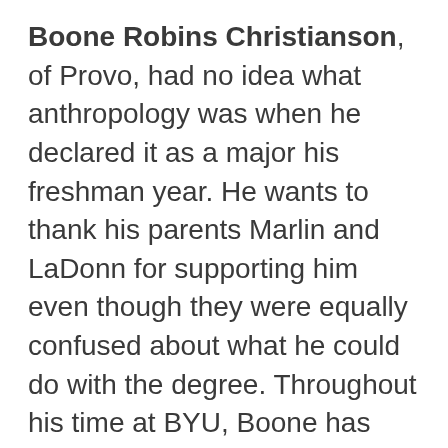Boone Robins Christianson, of Provo, had no idea what anthropology was when he declared it as a major his freshman year. He wants to thank his parents Marlin and LaDonn for supporting him even though they were equally confused about what he could do with the degree. Throughout his time at BYU, Boone has spent the majority of his studies researching African agricultural development, including conducting research in Malawi and Namibia. In addition, he speaks Otjiherero, a rare language spoken by small groups of people from those countries. Despite his successes in anthropology, Boone has decided to pursue a master's degree in Marriage and Family Therapy, and will begin his pursuit of this degree at Auburn University in Alabama this upcoming fall. Boone has enjoyed being involved in intermural sports, the Diction Club, and being an active participant in his LDS campus wards. He loves spending long hours playing Boggle and eating